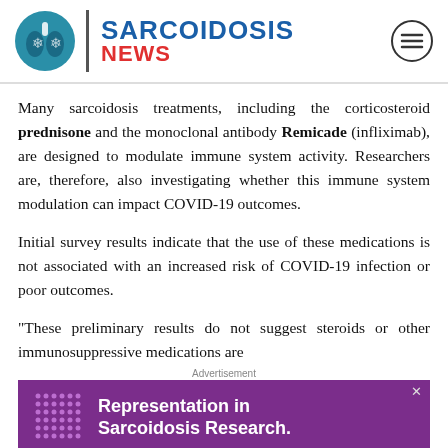SARCOIDOSIS NEWS
Many sarcoidosis treatments, including the corticosteroid prednisone and the monoclonal antibody Remicade (infliximab), are designed to modulate immune system activity. Researchers are, therefore, also investigating whether this immune system modulation can impact COVID-19 outcomes.
Initial survey results indicate that the use of these medications is not associated with an increased risk of COVID-19 infection or poor outcomes.
“These preliminary results do not suggest steroids or other immunosuppressive medications are placing sarcoidosis patients at risk for poor outcomes from COVID-19 — an important undertaking by the FSR."
[Figure (other): Advertisement banner for Representation in Sarcoidosis Research with purple background and decorative dot pattern]